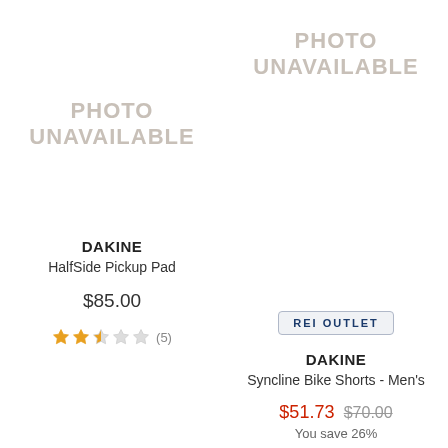[Figure (other): Photo unavailable placeholder for left product (Dakine HalfSide Pickup Pad)]
[Figure (other): Photo unavailable placeholder for right product (Dakine Syncline Bike Shorts - Men's)]
REI OUTLET
DAKINE
HalfSide Pickup Pad
$85.00
(5) 2.5 stars
DAKINE
Syncline Bike Shorts - Men's
$51.73 $70.00
You save 26%
(0) 0 stars